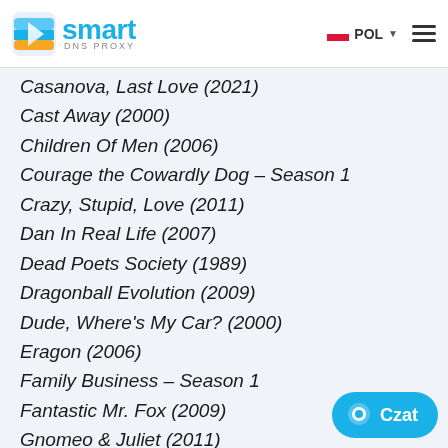Smart DNS Proxy — POL
Casanova, Last Love (2021)
Cast Away (2000)
Children Of Men (2006)
Courage the Cowardly Dog - Season 1
Crazy, Stupid, Love (2011)
Dan In Real Life (2007)
Dead Poets Society (1989)
Dragonball Evolution (2009)
Dude, Where's My Car? (2000)
Eragon (2006)
Family Business - Season 1
Fantastic Mr. Fox (2009)
Gnomeo & Juliet (2011)
Hope Springs Eternal (2018)
I Now Pronounce You Chuck & Larry (2007)
In Time (2011)